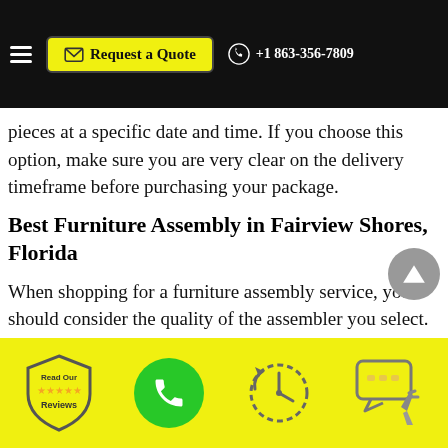Request a Quote  +1 863-356-7809
pieces at a specific date and time. If you choose this option, make sure you are very clear on the delivery timeframe before purchasing your package.
Best Furniture Assembly in Fairview Shores, Florida
When shopping for a furniture assembly service, you should consider the quality of the assembler you select. If you pay a bit more for quality, you will be able to rest assured that your finished furniture will look better and last longer than anything you may have purchased
Read Our Reviews | Phone | Clock | Chat